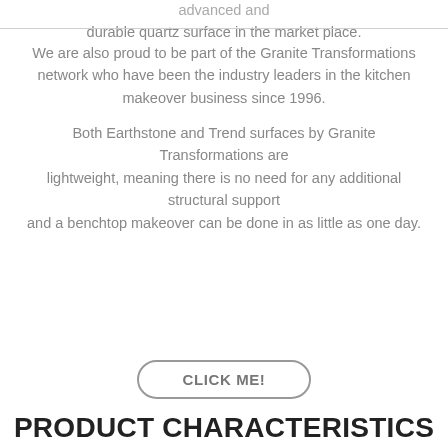advanced and durable quartz surface in the market place.
We are also proud to be part of the Granite Transformations network who have been the industry leaders in the kitchen makeover business since 1996.
Both Earthstone and Trend surfaces by Granite Transformations are lightweight, meaning there is no need for any additional structural support and a benchtop makeover can be done in as little as one day.
CLICK ME!
PRODUCT CHARACTERISTICS